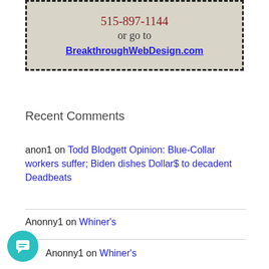[Figure (other): Advertisement box with dashed border, beige background, showing phone number 515-897-1144, text 'or go to', and link BreakthroughWebDesign.com]
Recent Comments
anon1 on Todd Blodgett Opinion: Blue-Collar workers suffer; Biden dishes Dollar$ to decadent Deadbeats
Anonny1 on Whiner's
Anonny1 on Whiner's